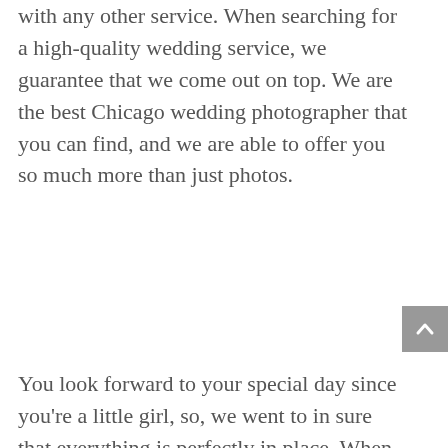with any other service. When searching for a high-quality wedding service, we guarantee that we come out on top. We are the best Chicago wedding photographer that you can find, and we are able to offer you so much more than just photos.
You look forward to your special day since you're a little girl, so, we went to in sure that everything is perfectly in place. When you were looking for the perfect wedding gown, caterer, venue, and more, you don't want to have to worry about your photographer. So, as soon as you hire us, you can have great peace of mind knowing that we have got everything under control. We are able to provide you with an incredible photography and videography experience that you'll not be able to find anywhere else. Visit our website today and you'll be able to read all of our customer reviews